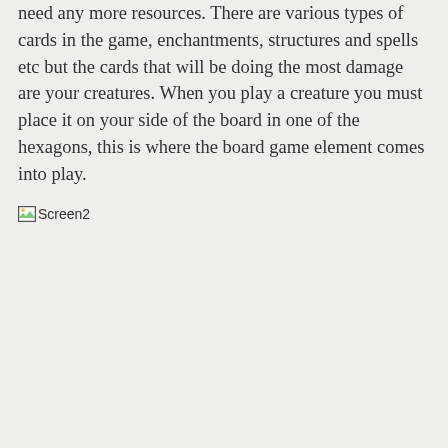need any more resources. There are various types of cards in the game, enchantments, structures and spells etc but the cards that will be doing the most damage are your creatures. When you play a creature you must place it on your side of the board in one of the hexagons, this is where the board game element comes into play.
[Figure (other): Broken image placeholder labeled 'Screen2']